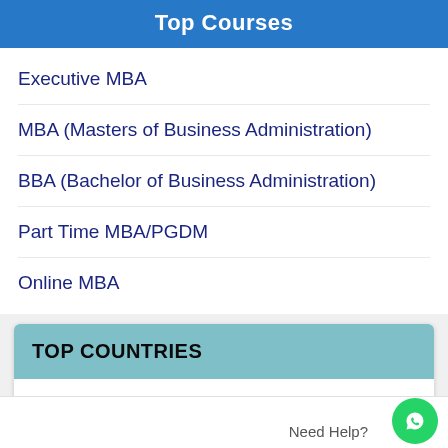Top Courses
Executive MBA
MBA (Masters of Business Administration)
BBA (Bachelor of Business Administration)
Part Time MBA/PGDM
Online MBA
TOP COUNTRIES
Study in Canada
Study in Germany
Study in Singapore
Need Help?